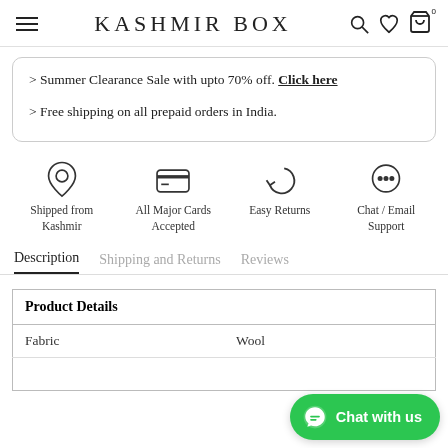KASHMIR BOX
> Summer Clearance Sale with upto 70% off. Click here
> Free shipping on all prepaid orders in India.
[Figure (infographic): Four feature icons: heart (Shipped from Kashmir), credit card (All Major Cards Accepted), return arrow (Easy Returns), chat bubble (Chat / Email Support)]
Description  Shipping and Returns  Reviews
| Product Details |  |
| --- | --- |
| Fabric | Wool |